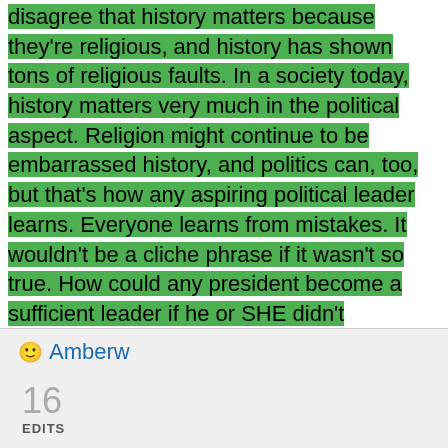disagree that history matters because they're religious, and history has shown tons of religious faults. In a society today, history matters very much in the political aspect. Religion might continue to be embarrassed history, and politics can, too, but that's how any aspiring political leader learns. Everyone learns from mistakes. It wouldn't be a cliche phrase if it wasn't so true. How could any president become a sufficient leader if he or SHE didn't understand the making of the laws in the United States, how our government was formed. Presidents can learn from other presidents' terms and know what best works for our country.  It's funny that most people here site the bible for religious evidence, but isn't that historical? It's contradicting all of their arguments when they say that history doesn't matter. How could we even have any
Amberw
16 EDITS